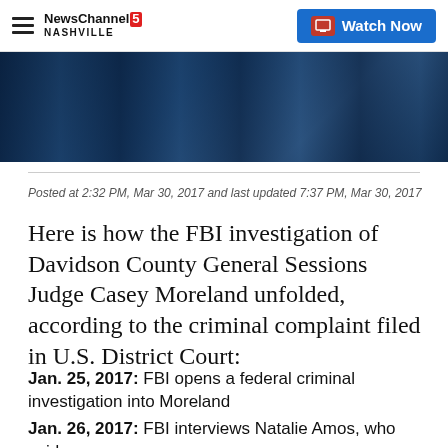NewsChannel 5 Nashville | Watch Now
[Figure (photo): Dark blue toned photo strip at top of article, appears to show figures in low light]
Posted at 2:32 PM, Mar 30, 2017 and last updated 7:37 PM, Mar 30, 2017
Here is how the FBI investigation of Davidson County General Sessions Judge Casey Moreland unfolded, according to the criminal complaint filed in U.S. District Court:
Jan. 25, 2017: FBI opens a federal criminal investigation into Moreland
Jan. 26, 2017: FBI interviews Natalie Amos, who said